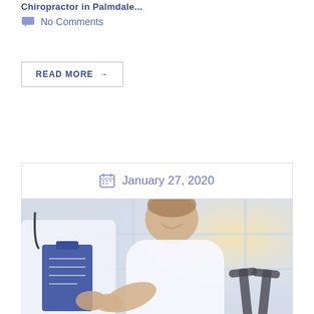Chiropractor in Palmdale...
No Comments
READ MORE →
January 27, 2020
[Figure (photo): A medical professional in a white coat holding a blue clipboard consulting with a smiling male patient in a white t-shirt. Crutches are visible in the bottom right. The setting appears to be a rehabilitation or physical therapy clinic with large windows in the background.]